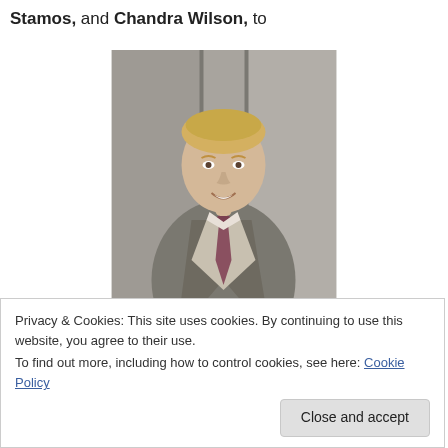Stamos, and Chandra Wilson, to
[Figure (photo): A man wearing a grey suit and dark red/maroon tie, with short blonde hair, smiling, standing in front of what appears to be elevator doors or a metallic background.]
Privacy & Cookies: This site uses cookies. By continuing to use this website, you agree to their use.
To find out more, including how to control cookies, see here: Cookie Policy
Close and accept